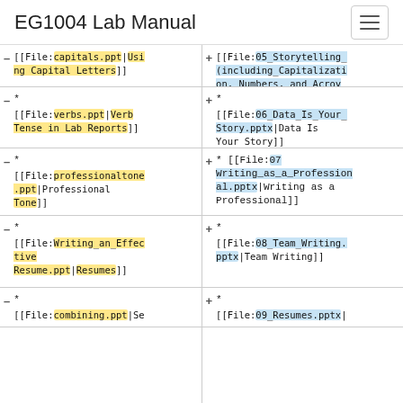EG1004 Lab Manual
| Left Column (Old Links) | Right Column (New Links) |
| --- | --- |
| - [[File:capitals.ppt|Using Capital Letters]] | + [[File:05_Storytelling_(including_Capitalization,_Numbers,_and_Acronyms).pptx|Storytelling]] |
| * - [[File:verbs.ppt|Verb Tense in Lab Reports]] | * + [[File:06_Data_Is_Your_Story.pptx|Data Is Your Story]] |
| * - [[File:professionaltone.ppt|Professional Tone]] | * + [[File: 07 Writing_as_a_Professional.pptx|Writing as a Professional]] |
| * - [[File:Writing_an_Effective Resume.ppt|Resumes]] | * + [[File:08_Team_Writing.pptx|Team Writing]] |
| * - [[File:combining.ppt|Se | * + [[File:09_Resumes.pptx| |